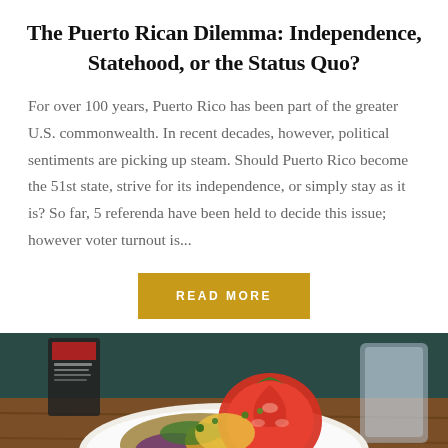The Puerto Rican Dilemma: Independence, Statehood, or the Status Quo?
For over 100 years, Puerto Rico has been part of the greater U.S. commonwealth. In recent decades, however, political sentiments are picking up steam. Should Puerto Rico become the 51st state, strive for its independence, or simply stay as it is? So far, 5 referenda have been held to decide this issue; however voter turnout is...
[Figure (other): Golden/amber 'READ MORE' button]
[Figure (photo): Close-up photo of a food dish on a white plate on a wooden table, featuring tomato slices, vegetables, and herbs, with a glass and menu holder in the background]